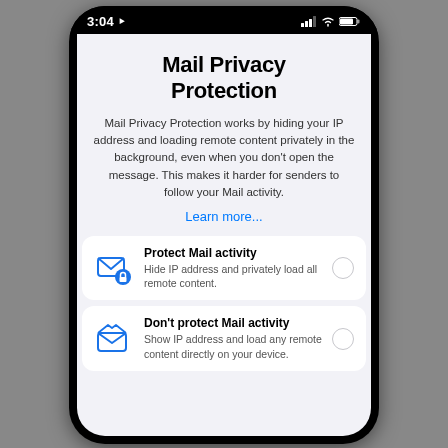[Figure (screenshot): iOS phone screenshot showing Mail Privacy Protection settings screen with status bar showing 3:04, a title, description text, Learn more link, and two option cards: Protect Mail activity and Don't protect Mail activity]
Mail Privacy Protection
Mail Privacy Protection works by hiding your IP address and loading remote content privately in the background, even when you don't open the message. This makes it harder for senders to follow your Mail activity.
Learn more...
Protect Mail activity
Hide IP address and privately load all remote content.
Don't protect Mail activity
Show IP address and load any remote content directly on your device.